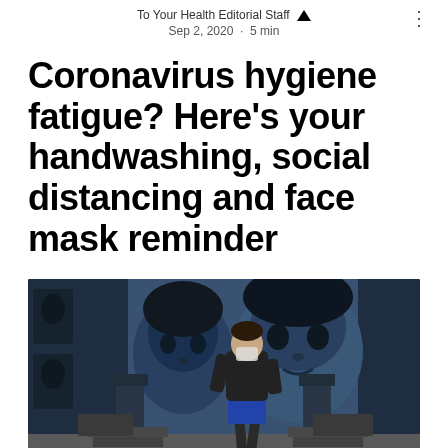To Your Health Editorial Staff · Sep 2, 2020 · 5 min
Coronavirus hygiene fatigue? Here's your handwashing, social distancing and face mask reminder
[Figure (photo): A person wearing a face mask and black hoodie with blue shorts and sandals, walking in front of a large mural painted on the facade of a building, depicting two large faces with blue tones and columns.]